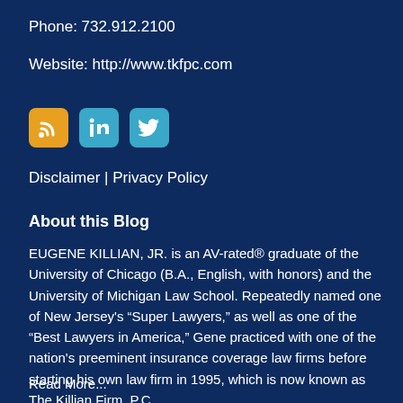Phone: 732.912.2100
Website: http://www.tkfpc.com
[Figure (illustration): Three social media icons: RSS (orange), LinkedIn (blue), Twitter (blue)]
Disclaimer | Privacy Policy
About this Blog
EUGENE KILLIAN, JR. is an AV-rated® graduate of the University of Chicago (B.A., English, with honors) and the University of Michigan Law School. Repeatedly named one of New Jersey's “Super Lawyers,” as well as one of the “Best Lawyers in America,” Gene practiced with one of the nation's preeminent insurance coverage law firms before starting his own law firm in 1995, which is now known as The Killian Firm, P.C.
Read More...